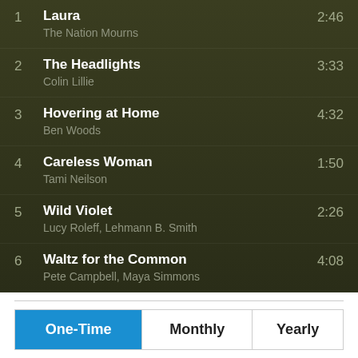1  Laura  2:46
The Nation Mourns
2  The Headlights  3:33
Colin Lillie
3  Hovering at Home  4:32
Ben Woods
4  Careless Woman  1:50
Tami Neilson
5  Wild Violet  2:26
Lucy Roleff, Lehmann B. Smith
6  Waltz for the Common  4:08
Pete Campbell, Maya Simmons
| One-Time | Monthly | Yearly |
| --- | --- | --- |
Shout us a coffee, buy us a beer!